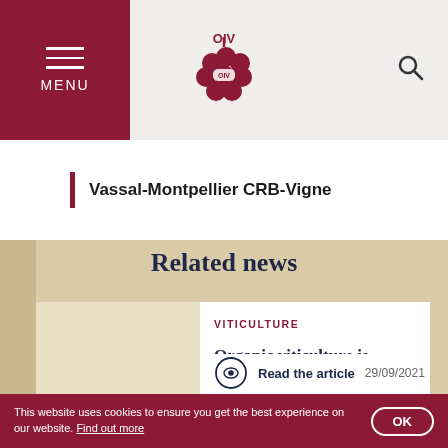OIV - MENU
Vassal-Montpellier CRB-Vigne
Related news
VITICULTURE
Organic viticulture is gaining terrain
Read the article  29/09/2021
This website uses cookies to ensure you get the best experience on our website. Find out more  OK